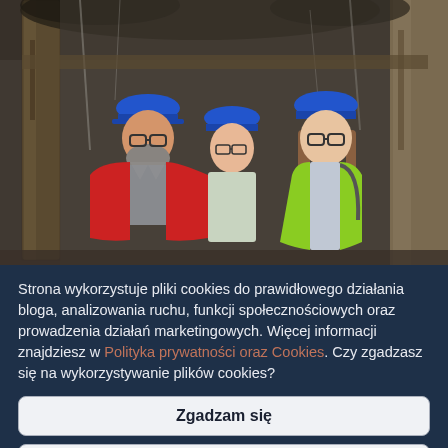[Figure (photo): Three people wearing blue hard hats standing in an underground mine or cave tunnel. The person on the left wears a red jacket, the person in the middle wears a light patterned top, and the person on the right wears a bright green/yellow jacket. The walls and ceiling appear to be rock or stone, with wooden support beams visible.]
Strona wykorzystuje pliki cookies do prawidłowego działania bloga, analizowania ruchu, funkcji społecznościowych oraz prowadzenia działań marketingowych. Więcej informacji znajdziesz w Polityka prywatności oraz Cookies. Czy zgadzasz się na wykorzystywanie plików cookies?
Zgadzam się
Wyłącz ciasteczka